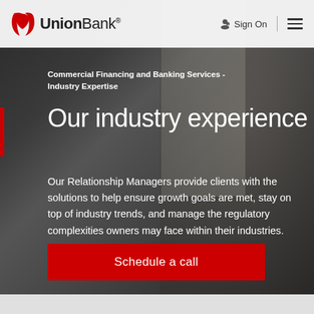UnionBank® Sign On
Commercial Financing and Banking Services - Industry Expertise
Our industry experience
Our Relationship Managers provide clients with the solutions to help ensure growth goals are met, stay on top of industry trends, and manage the regulatory complexities owners may face within their industries.
Schedule a call